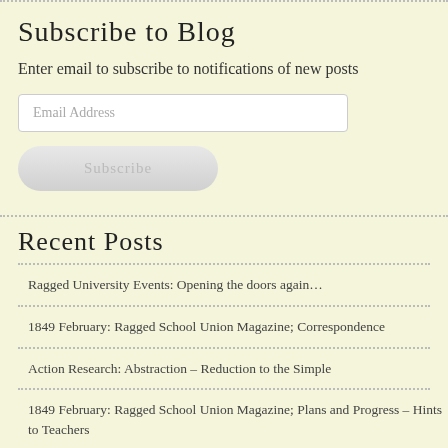Subscribe to Blog
Enter email to subscribe to notifications of new posts
[Figure (screenshot): Email address input field with placeholder text 'Email Address']
[Figure (screenshot): Subscribe button with rounded corners]
Recent Posts
Ragged University Events: Opening the doors again…
1849 February: Ragged School Union Magazine; Correspondence
Action Research: Abstraction – Reduction to the Simple
1849 February: Ragged School Union Magazine; Plans and Progress – Hints to Teachers